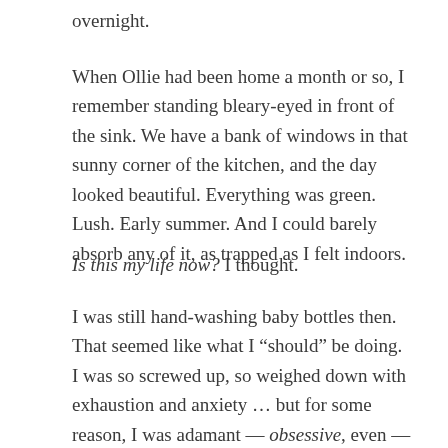overnight.
When Ollie had been home a month or so, I remember standing bleary-eyed in front of the sink. We have a bank of windows in that sunny corner of the kitchen, and the day looked beautiful. Everything was green. Lush. Early summer. And I could barely absorb any of it, as trapped as I felt indoors.
Is this my life now? I thought.
I was still hand-washing baby bottles then. That seemed like what I “should” be doing. I was so screwed up, so weighed down with exhaustion and anxiety … but for some reason, I was adamant — obsessive, even — about cleaning these bottles by hand, as if that time-consuming process was penance for not feeling all the